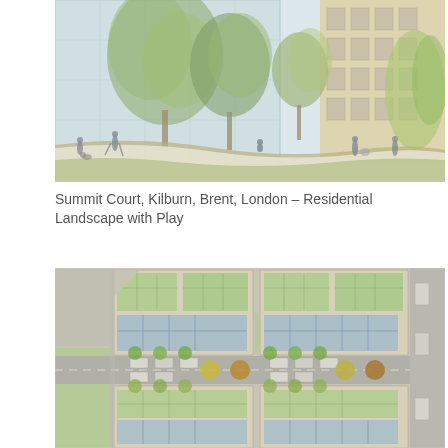[Figure (illustration): Architectural rendering showing a residential landscape with play area at Summit Court, Kilburn, Brent, London. The illustration shows a large glass-fronted building on the left, a brick building on the right, with lush trees and greenery in between, and people walking and playing on the ground level.]
Summit Court, Kilburn, Brent, London – Residential Landscape with Play
[Figure (engineering-diagram): Aerial site plan / landscape plan of Summit Court development showing building footprints with green roof terraces (shown in light green), blue-tinted areas indicating glazed or solar elements, a central road with parking and trees, surrounding streets with parked cars, and adjacent green space to the lower left.]